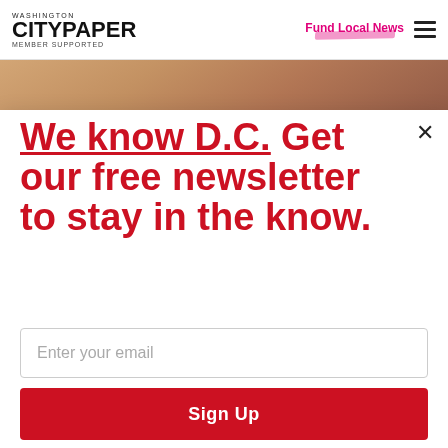WASHINGTON CITYPAPER MEMBER SUPPORTED | Fund Local News
[Figure (photo): Background photo strip showing partial view of a person]
We know D.C. Get our free newsletter to stay in the know.
Enter your email
Sign Up
Unsubscribe any time.